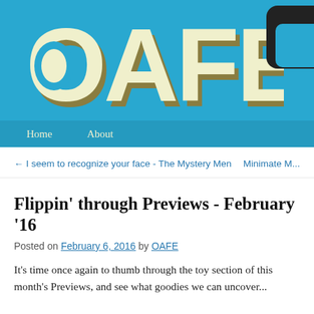[Figure (logo): OAFE website logo — large stylized letters O, A, F, E in cream/beige with dark olive shadow on a cyan/teal blue background]
Home   About
← I seem to recognize your face - The Mystery Men     Minimate M...
Flippin' through Previews - February '16
Posted on February 6, 2016 by OAFE
It's time once again to thumb through the toy section of this month's Previews, and see what goodies we can uncover...